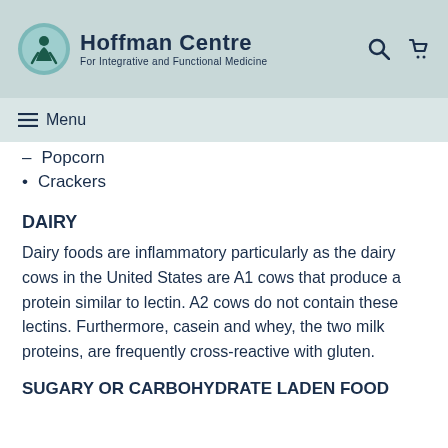Hoffman Centre For Integrative and Functional Medicine
Popcorn
Crackers
DAIRY
Dairy foods are inflammatory particularly as the dairy cows in the United States are A1 cows that produce a protein similar to lectin. A2 cows do not contain these lectins. Furthermore, casein and whey, the two milk proteins, are frequently cross-reactive with gluten.
SUGARY OR CARBOHYDRATE LADEN FOOD